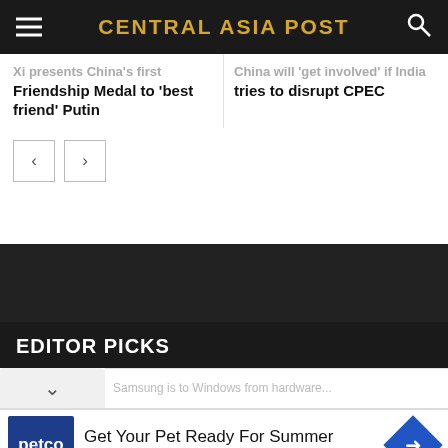CENTRAL ASIA POST
Xi presents China's first Friendship Medal to 'best friend' Putin
China will 'get involved' if India tries to disrupt CPEC
EDITOR PICKS
[Figure (screenshot): Advertisement: Get Your Pet Ready For Summer - Petco]